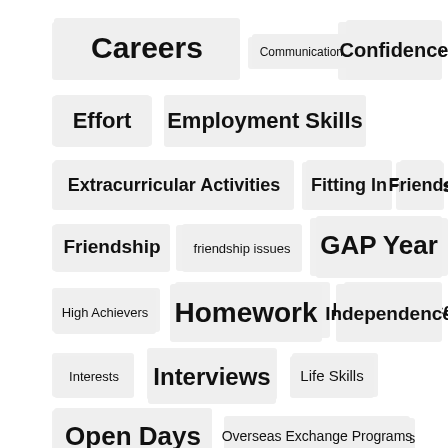[Figure (infographic): Tag cloud / word cloud with categories related to education, careers, and youth development. Tags displayed as pill/box labels in varying font sizes indicating relative importance or frequency. Tags include: Careers, Communication Skills, Confidence, Effort, Employment Skills, Extracurricular Activities, Fitting In, Friends, Friendship, friendship issues, GAP Year, High Achievers, Homework, Independence, Interests, Interviews, Life Skills, Open Days, Overseas Exchange Programs, Parenting, Part-Time Work, Praise, reading, Resilience, Resume, School Climate]